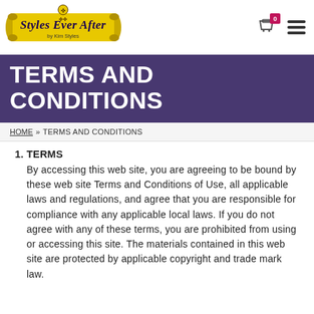[Figure (logo): Styles Ever After by Kim Styles logo on yellow banner scroll with decorative figure]
HOME » TERMS AND CONDITIONS
TERMS AND CONDITIONS
1. TERMS
By accessing this web site, you are agreeing to be bound by these web site Terms and Conditions of Use, all applicable laws and regulations, and agree that you are responsible for compliance with any applicable local laws. If you do not agree with any of these terms, you are prohibited from using or accessing this site. The materials contained in this web site are protected by applicable copyright and trade mark law.